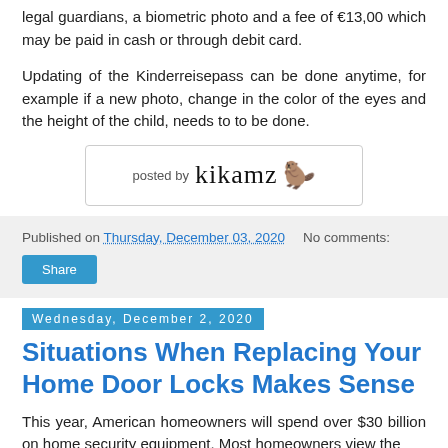legal guardians, a biometric photo and a fee of €13,00 which may be paid in cash or through debit card.
Updating of the Kinderreisepass can be done anytime, for example if a new photo, change in the color of the eyes and the height of the child, needs to to be done.
[Figure (other): Posted by signature box with handwritten-style text 'kikamz' and a beaver emoji]
Published on Thursday, December 03, 2020   No comments:
Share
Wednesday, December 2, 2020
Situations When Replacing Your Home Door Locks Makes Sense
This year, American homeowners will spend over $30 billion on home security equipment. Most homeowners view the